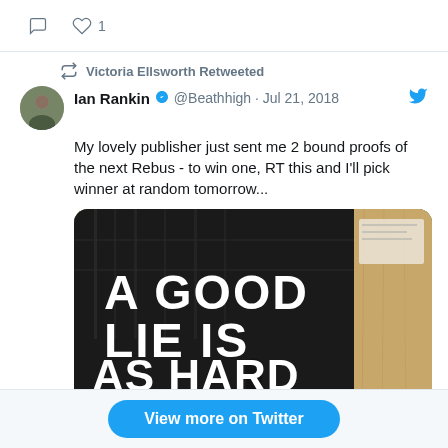1 (like count, top strip)
Victoria Ellsworth Retweeted
Ian Rankin @Beathhigh · Jul 21, 2018
My lovely publisher just sent me 2 bound proofs of the next Rebus - to win one, RT this and I'll pick winner at random tomorrow...
[Figure (photo): Book cover showing white text on black background reading 'A GOOD LIE IS AS HARD TO FIND' on what appears to be a book on a wooden surface]
274 comments, 3,520 likes
View more on Twitter